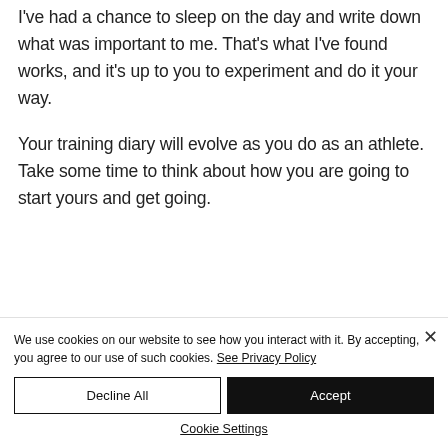I've had a chance to sleep on the day and write down what was important to me. That's what I've found works, and it's up to you to experiment and do it your way.
Your training diary will evolve as you do as an athlete. Take some time to think about how you are going to start yours and get going.
We use cookies on our website to see how you interact with it. By accepting, you agree to our use of such cookies. See Privacy Policy
Decline All
Accept
Cookie Settings